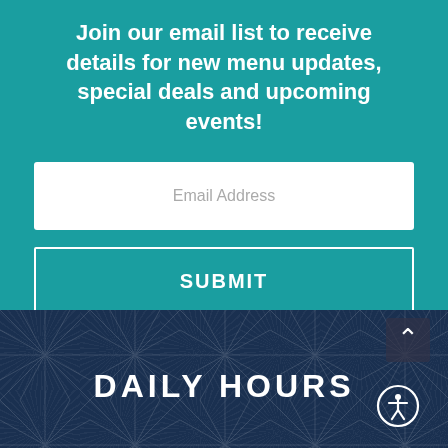Join our email list to receive details for new menu updates, special deals and upcoming events!
[Figure (infographic): Email input field with placeholder text 'Email Address']
[Figure (infographic): Submit button with white border and text 'SUBMIT']
DAILY HOURS